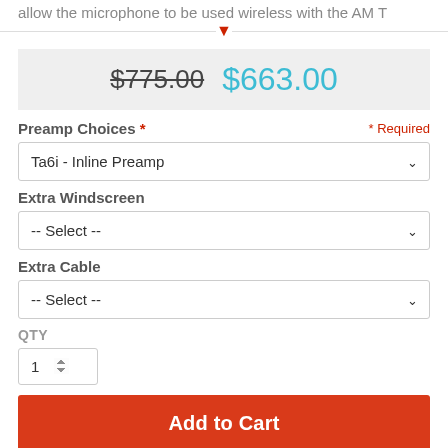allow the microphone to be used wireless with the AM T
$775.00  $663.00
Preamp Choices * * Required
Ta6i - Inline Preamp
Extra Windscreen
-- Select --
Extra Cable
-- Select --
QTY
Add to Cart